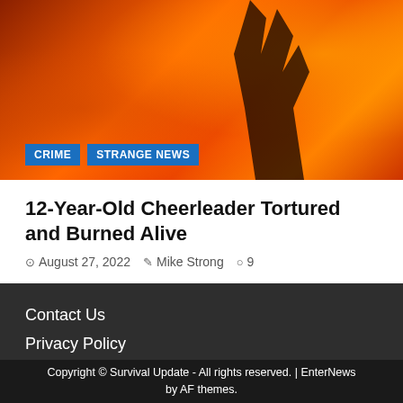[Figure (photo): A dark silhouette of a person with hands raised against a background of orange and red flames]
CRIME   STRANGE NEWS
12-Year-Old Cheerleader Tortured and Burned Alive
August 27, 2022   Mike Strong   9
Contact Us
Privacy Policy
Sign up for Survival Update Today!
Home
Copyright © Survival Update - All rights reserved. | EnterNews by AF themes.